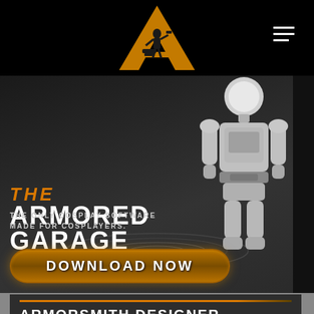[Figure (logo): The Armored Garage logo: large orange letter A with a blacksmith figure silhouette inside, on black background. Hamburger menu icon top right.]
[Figure (illustration): Hero section with dark background and a white/silver humanoid robot figure standing in center-right. Text overlay on left reads THE ARMORED GARAGE with tagline and download button.]
THE ARMORED GARAGE
THE ONLY COSPLAY SOFTWARE MADE FOR COSPLAYERS.
DOWNLOAD NOW
ARMORSMITH DESIGNER